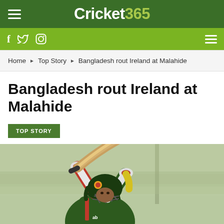Cricket365
f  Twitter  Instagram
Home ▶ Top Story ▶ Bangladesh rout Ireland at Malahide
Bangladesh rout Ireland at Malahide
TOP STORY
[Figure (photo): Bangladesh cricket batsman in action, wearing dark helmet and red/green jersey, holding bat raised mid-swing, with blurred green stadium background]